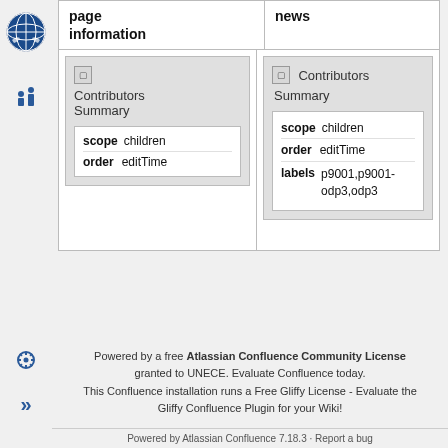[Figure (screenshot): UN logo / emblem in blue circle at top of sidebar]
| page information | news |
| --- | --- |
| [Contributors Summary macro: scope=children, order=editTime] | [Contributors Summary macro: scope=children, order=editTime, labels=p9001,p9001-odp3,odp3] |
Powered by a free Atlassian Confluence Community License granted to UNECE. Evaluate Confluence today. This Confluence installation runs a Free Gliffy License - Evaluate the Gliffy Confluence Plugin for your Wiki!
Powered by Atlassian Confluence 7.18.3   ·   Report a bug